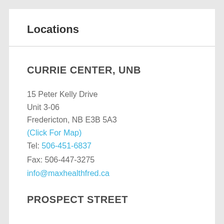Locations
CURRIE CENTER, UNB
15 Peter Kelly Drive
Unit 3-06
Fredericton, NB E3B 5A3
(Click For Map)
Tel: 506-451-6837
Fax: 506-447-3275
info@maxhealthfred.ca
PROSPECT STREET